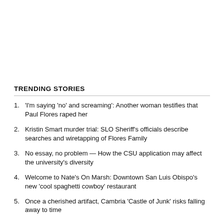TRENDING STORIES
1. 'I'm saying 'no' and screaming': Another woman testifies that Paul Flores raped her
2. Kristin Smart murder trial: SLO Sheriff's officials describe searches and wiretapping of Flores Family
3. No essay, no problem — How the CSU application may affect the university's diversity
4. Welcome to Nate's On Marsh: Downtown San Luis Obispo's new 'cool spaghetti cowboy' restaurant
5. Once a cherished artifact, Cambria 'Castle of Junk' risks falling away to time